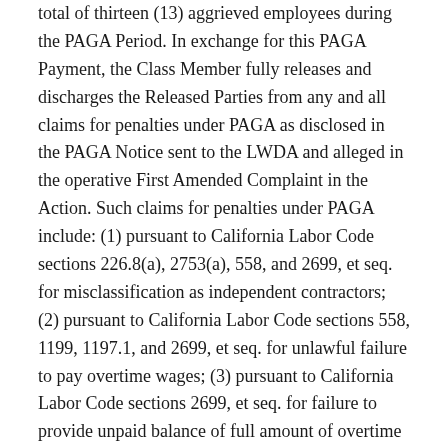total of thirteen (13) aggrieved employees during the PAGA Period. In exchange for this PAGA Payment, the Class Member fully releases and discharges the Released Parties from any and all claims for penalties under PAGA as disclosed in the PAGA Notice sent to the LWDA and alleged in the operative First Amended Complaint in the Action. Such claims for penalties under PAGA include: (1) pursuant to California Labor Code sections 226.8(a), 2753(a), 558, and 2699, et seq. for misclassification as independent contractors; (2) pursuant to California Labor Code sections 558, 1199, 1197.1, and 2699, et seq. for unlawful failure to pay overtime wages; (3) pursuant to California Labor Code sections 2699, et seq. for failure to provide unpaid balance of full amount of overtime compensation; (4) pursuant to California Labor Code sections 558, 1197.1, and 2699, et seq. for unlawful failure to pay minimum